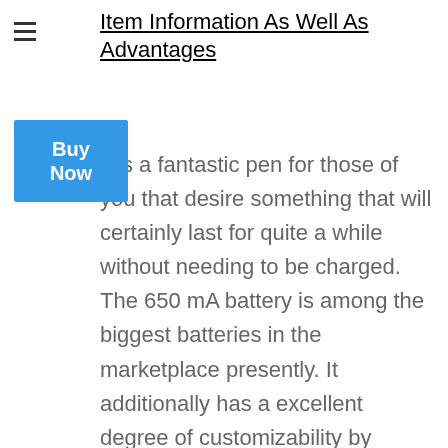Item Information As Well As Advantages
[Figure (other): Blue 'Buy Now' button]
...is a fantastic pen for those of you that desire something that will certainly last for quite a while without needing to be charged. The 650 mA battery is among the biggest batteries in the marketplace presently. It additionally has a excellent degree of customizability by permitting you to pick from one of 3 voltage settings. This can enable you to adjust to various sorts of oil or